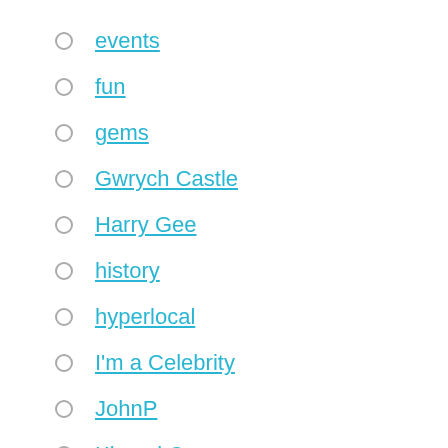events
fun
gems
Gwrych Castle
Harry Gee
history
hyperlocal
I'm a Celebrity
JohnP
Kinmel Camp
Llanddulas
Llanfair TH
Moelfre